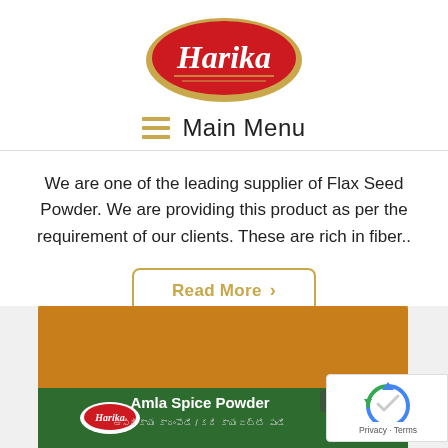[Figure (logo): Harika brand logo — red oval with gold border and white italic text 'Harika', with gold decorative lines below]
≡  Main Menu
We are one of the leading supplier of Flax Seed Powder. We are providing this product as per the requirement of our clients. These are rich in fiber..
Read More >
[Figure (photo): Harika Amla Spice Powder product packaging — orange powder in a bag with green label showing 'Harika Amla Spice Powder' with Telugu script subtitle]